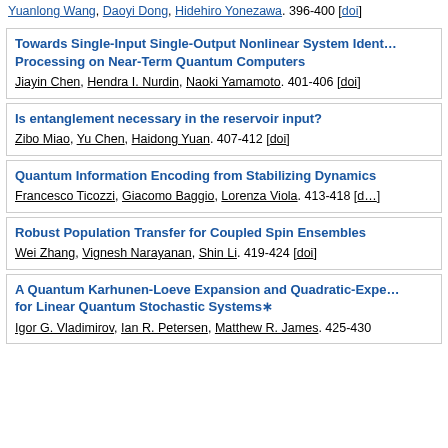Yuanlong Wang, Daoyi Dong, Hidehiro Yonezawa. 396-400 [doi]
Towards Single-Input Single-Output Nonlinear System Identification via Quantum Signal Processing on Near-Term Quantum Computers
Jiayin Chen, Hendra I. Nurdin, Naoki Yamamoto. 401-406 [doi]
Is entanglement necessary in the reservoir input?
Zibo Miao, Yu Chen, Haidong Yuan. 407-412 [doi]
Quantum Information Encoding from Stabilizing Dynamics
Francesco Ticozzi, Giacomo Baggio, Lorenza Viola. 413-418 [doi]
Robust Population Transfer for Coupled Spin Ensembles
Wei Zhang, Vignesh Narayanan, Shin Li. 419-424 [doi]
A Quantum Karhunen-Loeve Expansion and Quadratic-Exponential Functionals for Linear Quantum Stochastic Systems*
Igor G. Vladimirov, Ian R. Petersen, Matthew R. James. 425-430